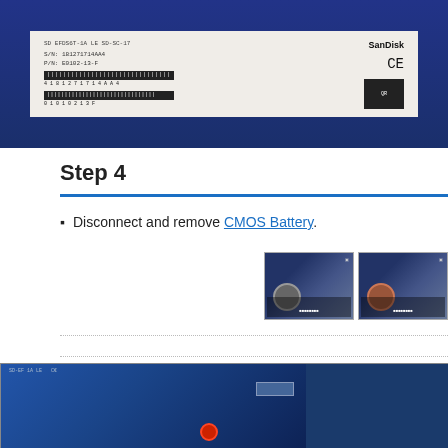[Figure (photo): Close-up photo of a SanDisk SSD module on a blue PCB motherboard, showing barcode labels and CE marking]
Step 4
Disconnect and remove CMOS Battery.
[Figure (photo): Two thumbnail images showing the CMOS battery location on the motherboard]
[Figure (photo): Close-up photo of laptop motherboard interior showing a screw labeled 2mm x 3mm with a red circle highlighting the screw location]